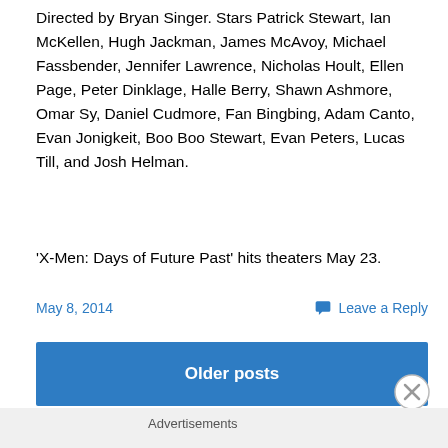Directed by Bryan Singer. Stars Patrick Stewart, Ian McKellen, Hugh Jackman, James McAvoy, Michael Fassbender, Jennifer Lawrence, Nicholas Hoult, Ellen Page, Peter Dinklage, Halle Berry, Shawn Ashmore, Omar Sy, Daniel Cudmore, Fan Bingbing, Adam Canto, Evan Jonigkeit, Boo Boo Stewart, Evan Peters, Lucas Till, and Josh Helman.
'X-Men: Days of Future Past' hits theaters May 23.
May 8, 2014
Leave a Reply
Older posts
Advertisements